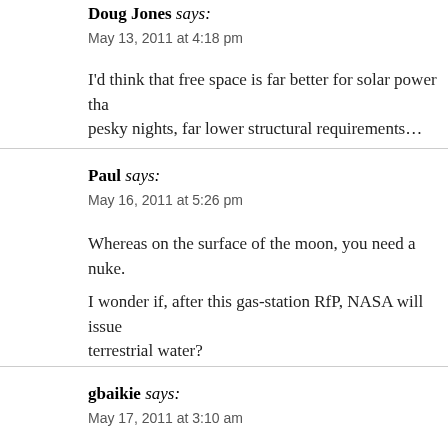Doug Jones says:
May 13, 2011 at 4:18 pm
I'd think that free space is far better for solar power tha… pesky nights, far lower structural requirements…
Paul says:
May 16, 2011 at 5:26 pm
Whereas on the surface of the moon, you need a nuke.
I wonder if, after this gas-station RfP, NASA will issue… terrestrial water?
gbaikie says:
May 17, 2011 at 3:10 am